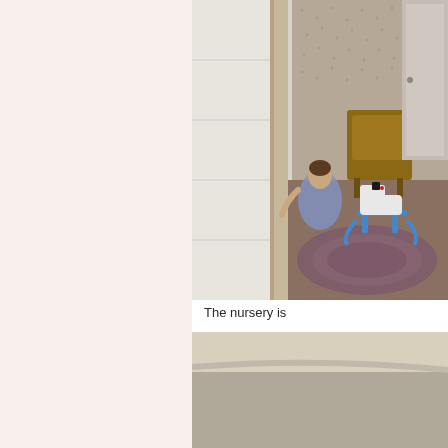[Figure (photo): Interior room scene viewed through a doorway, showing a child in a blue dress, a rocking horse toy, a braided rug, and a wicker chair in a room with patterned wallpaper and white paneling.]
The nursery is
[Figure (photo): Close-up of a floor or surface with beige and grey tones, partially cut off at the bottom of the page.]